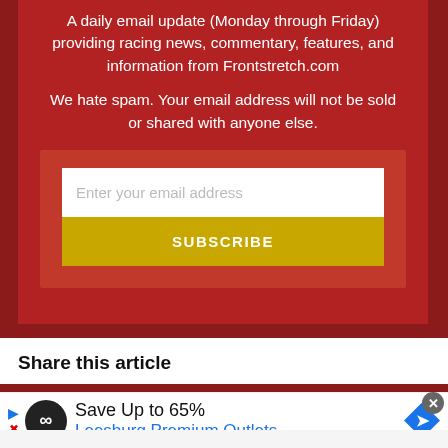A daily email update (Monday through Friday) providing racing news, commentary, features, and information from Frontstretch.com
We hate spam. Your email address will not be sold or shared with anyone else.
[Figure (screenshot): Email subscription form with text input field placeholder 'Enter your email address' and a gold SUBSCRIBE button]
Share this article
[Figure (screenshot): Advertisement banner: Save Up to 65% Leesburg Premium Outlets with logo and navigation icons]